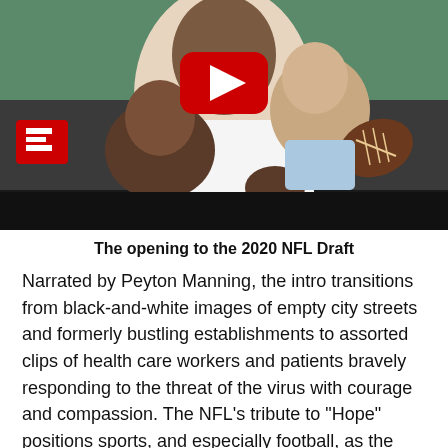[Figure (screenshot): YouTube video thumbnail showing an ESPN clip of the 2020 NFL Draft opening. An adult man and two children are shown; one child points toward the camera while the other holds a football. A red ESPN logo appears at left, and a YouTube play button overlay is centered on the image. The bottom portion of the thumbnail is a dark/black bar.]
The opening to the 2020 NFL Draft
Narrated by Peyton Manning, the intro transitions from black-and-white images of empty city streets and formerly bustling establishments to assorted clips of health care workers and patients bravely responding to the threat of the virus with courage and compassion. The NFL’s tribute to “Hope” positions sports, and especially football, as the ultimate goal, the light at the